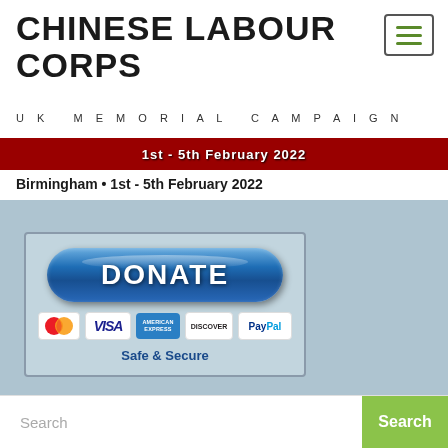CHINESE LABOUR CORPS
UK MEMORIAL CAMPAIGN
[Figure (illustration): Red banner with text '1st - 5th February 2022' and decorative Chinese-style elements]
Birmingham • 1st - 5th February 2022
[Figure (infographic): Donate button with payment logos (MasterCard, Visa, American Express, Discover, PayPal) and 'Safe & Secure' text]